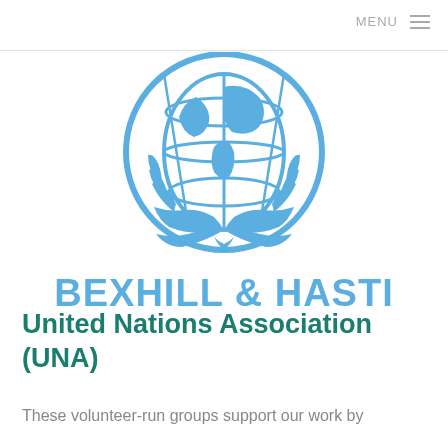MENU
[Figure (logo): United Nations emblem logo (globe with olive branches) in light blue, with text BEXHILL & HASTI below in bold blue letters]
United Nations Association (UNA)
These volunteer-run groups support our work by